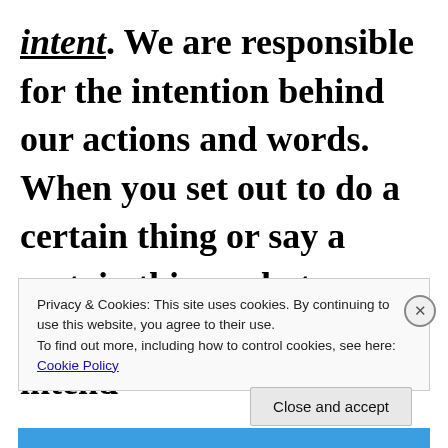intent. We are responsible for the intention behind our actions and words. When you set out to do a certain thing or say a certain thing, what was your intent? Did you intend
Privacy & Cookies: This site uses cookies. By continuing to use this website, you agree to their use.
To find out more, including how to control cookies, see here: Cookie Policy
Close and accept